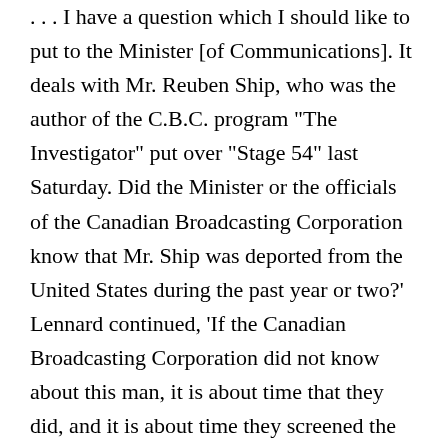. . . I have a question which I should like to put to the Minister [of Communications]. It deals with Mr. Reuben Ship, who was the author of the C.B.C. program "The Investigator" put over "Stage 54" last Saturday. Did the Minister or the officials of the Canadian Broadcasting Corporation know that Mr. Ship was deported from the United States during the past year or two?' Lennard continued, 'If the Canadian Broadcasting Corporation did not know about this man, it is about time that they did, and it is about time they screened the employees of the Canadian Broadcasting Corporation to see whether they have any employees who should not be there.'26 The very well informed Minister replied that Ship was a freelance author and that CBC took only the responsibility of accepting and broadcasting the script. The Minister's ready answer clearly implies that the Government had heard about the production and that it had determined its